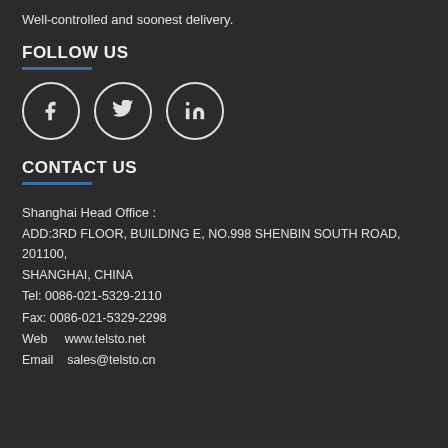Well-controlled and soonest delivery.
FOLLOW US
[Figure (illustration): Three social media icon circles: Facebook (f), Twitter (bird), LinkedIn (in)]
CONTACT US
Shanghai Head Office :
ADD:3RD FLOOR, BUILDING E, NO.998 SHENBIN SOUTH ROAD, 201100, SHANGHAI, CHINA
Tel: 0086-021-5329-2110
Fax: 0086-021-5329-2298
Web    www.telsto.net
Email    sales@telsto.cn